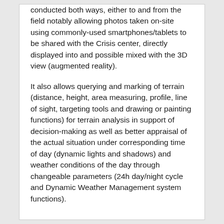conducted both ways, either to and from the field notably allowing photos taken on-site using commonly-used smartphones/tablets to be shared with the Crisis center, directly displayed into and possible mixed with the 3D view (augmented reality).
It also allows querying and marking of terrain (distance, height, area measuring, profile, line of sight, targeting tools and drawing or painting functions) for terrain analysis in support of decision-making as well as better appraisal of the actual situation under corresponding time of day (dynamic lights and shadows) and weather conditions of the day through changeable parameters (24h day/night cycle and Dynamic Weather Management system functions).